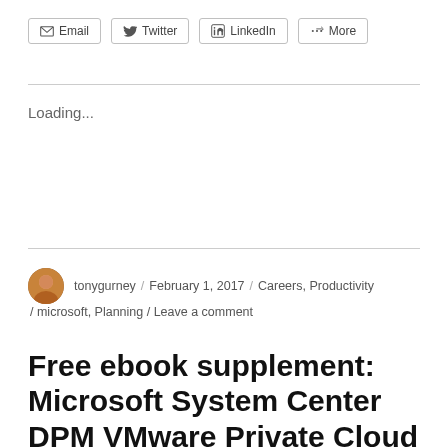[Figure (other): Social share buttons row: Email, Twitter, LinkedIn, More]
Loading...
tonygurney / February 1, 2017 / Careers, Productivity / microsoft, Planning / Leave a comment
Free ebook supplement: Microsoft System Center DPM VMware Private Cloud Protection –